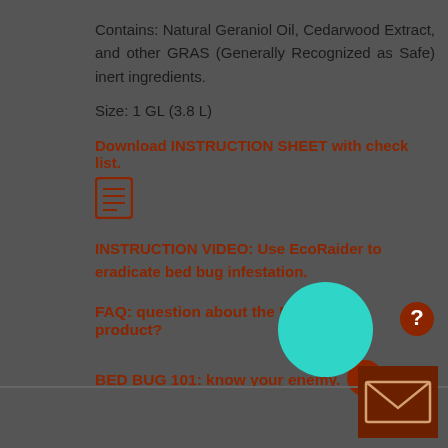Contains: Natural Geraniol Oil, Cedarwood Extract, and other GRAS (Generally Recognized as Safe) inert ingredients.
Size: 1 GL (3.8 L)
Download INSTRUCTION SHEET with check list.
[Figure (illustration): Document icon with lines representing text]
INSTRUCTION VIDEO: Use EcoRaider to eradicate bed bug infestation.
[Figure (illustration): Teal/cyan circle play button overlay]
FAQ: question about the EcoRaider product?
[Figure (illustration): Question mark circle icon]
BED BUG 101: know your enemy.
[Figure (illustration): Info circle icon]
[Figure (illustration): Email envelope button icon at bottom right]